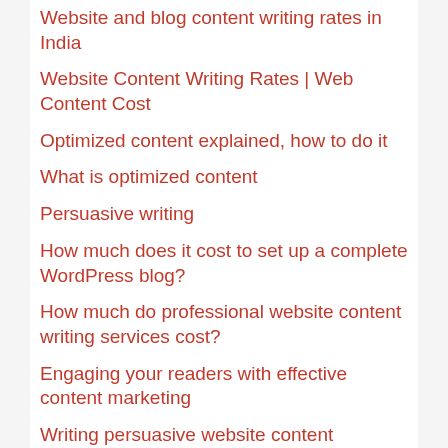Website and blog content writing rates in India
Website Content Writing Rates | Web Content Cost
Optimized content explained, how to do it
What is optimized content
Persuasive writing
How much does it cost to set up a complete WordPress blog?
How much do professional website content writing services cost?
Engaging your readers with effective content marketing
Writing persuasive website content
Online and web copywriting
SEO content development – Improve your organic search engine rankings
Why outsource to a freelance content writer
Difference between SEO content writer and